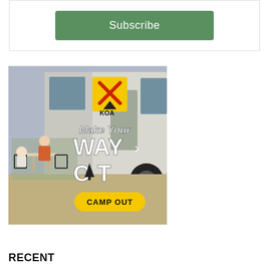[Figure (other): Subscribe button on a white card with light gray border]
[Figure (illustration): KOA camping advertisement showing family at outdoor table next to RV with text 'Make Your Way Out - Camp Out' and KOA logo]
RECENT